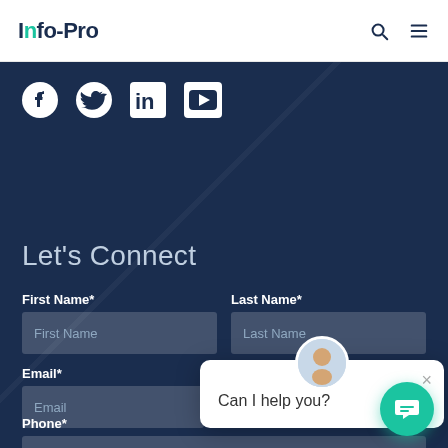Info-Pro navigation bar with logo, search icon, and menu icon
[Figure (screenshot): Social media icons: Facebook, Twitter, LinkedIn, YouTube in white on dark blue background]
Let's Connect
First Name* | Last Name* | Email* form fields
[Figure (screenshot): Chat popup with avatar and text 'Can I help you?' with close button]
Phone* form field
[Figure (screenshot): Green circular chat button in bottom right corner]